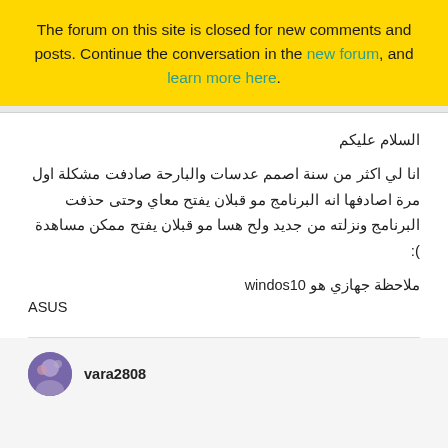The forum on this site is closed for new comments and posts. Continue the conversation in the new forum, and learn more here.
السلام عليكم
انا لي اكثر من سنة اصمم عدسات والبارحة صادفت مشكلة اول مرة اصادفها انه البرنامج مو قبلان يفتح معاي وحتى حذفت البرنامج ونزلته من جديد ولح هسا مو قبلان يفتح ممكن مساهدة ):
ملاحظة جهازي هو windos10
ASUS
vara2808